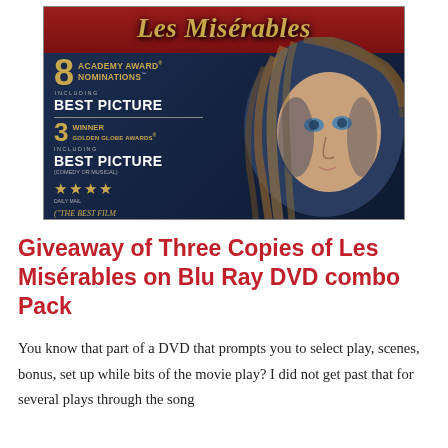[Figure (photo): Les Misérables Blu-Ray DVD movie cover showing a young blonde girl with wind-blown hair against a dark navy background. Red header with gold title 'Les Misérables'. Awards listed: 8 Academy Award Nominations including Best Picture, 3 Winner Golden Globe Awards including Best Picture (Comedy or Musical), 4 gold stars, and quote 'The Best Film of the Year'.]
Giveaway of Three Copies of Les Misérables on Blu Ray DVD combo Pack
You know that part of a DVD that prompts you to select play, scenes, bonus, set up while bits of the movie play? I did not get past that for several plays through the song